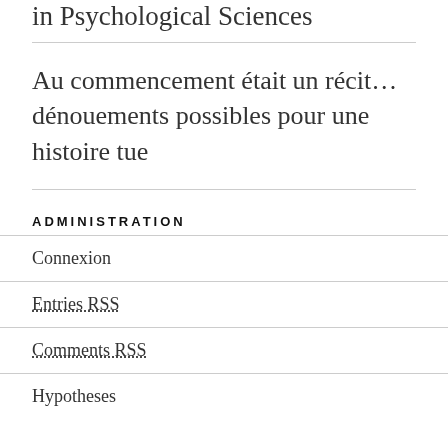in Psychological Sciences
Au commencement était un récit… dénouements possibles pour une histoire tue
ADMINISTRATION
Connexion
Entries RSS
Comments RSS
Hypotheses